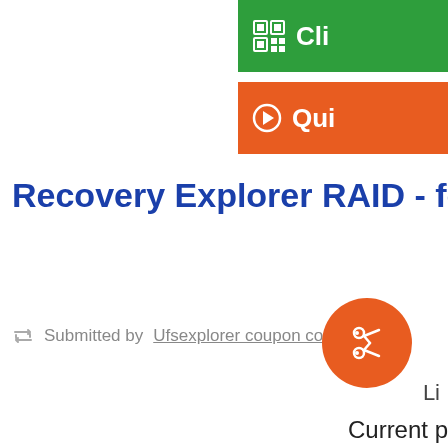[Figure (screenshot): Green button with QR code icon and 'Cli...' text, partially visible at top right]
[Figure (screenshot): Orange button with arrow icon and 'Quic...' text, partially visible at top right]
Recovery Explorer RAID - for Linux - Con...
Submitted by Ufsexplorer coupon code
[Figure (illustration): Orange circular button with scissors icon]
Li...
Current p...